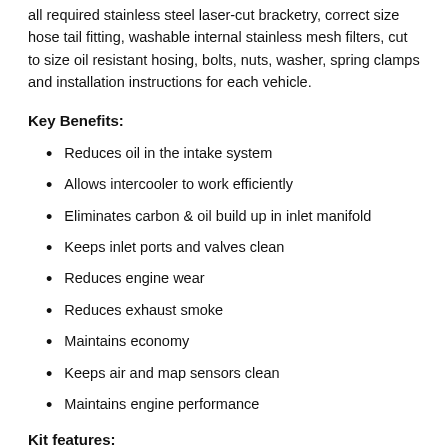all required stainless steel laser-cut bracketry, correct size hose tail fitting, washable internal stainless mesh filters, cut to size oil resistant hosing, bolts, nuts, washer, spring clamps and installation instructions for each vehicle.
Key Benefits:
Reduces oil in the intake system
Allows intercooler to work efficiently
Eliminates carbon & oil build up in inlet manifold
Keeps inlet ports and valves clean
Reduces engine wear
Reduces exhaust smoke
Maintains economy
Keeps air and map sensors clean
Maintains engine performance
Kit features: